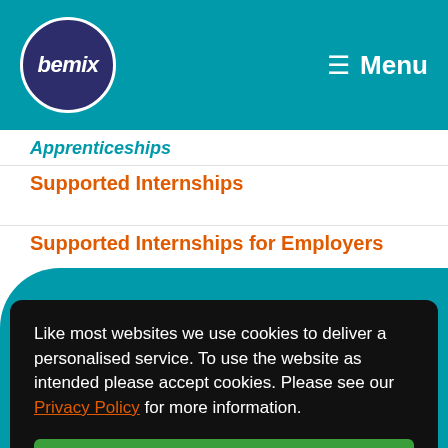bemix | Menu
Supported Internships
Supported Internships for Employers
Like most websites we use cookies to deliver a personalised service. To use the website as intended please accept cookies. Please see our Privacy Policy for more information.
Accept Cookies